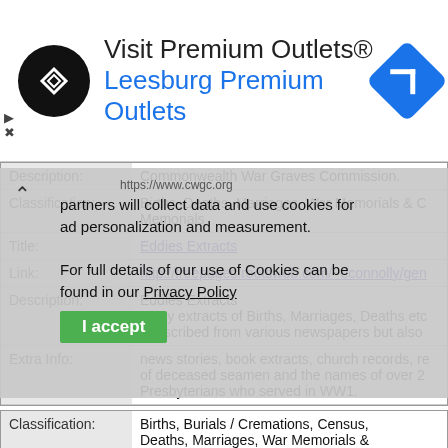[Figure (screenshot): Ad banner for Visit Premium Outlets / Leesburg Premium Outlets with circular black logo and blue navigation icon]
[Figure (screenshot): Cookie consent overlay with text about partners collecting data and use of cookies for ad personalization, with I accept button]
| Label | Value |
| --- | --- |
| Description: | Commonwealth War Graves Commission. |
| Classification: | Births, Deaths, Marriages, War Memorials & C Memorials |
| Title: | Eddies Extracts |
| Link: | http://freepages.rootsweb.com/~econnolly/gen |
| Description: | Eddies Extracts
Many extracts of Births, Marriages, Deaths etc transcribed from various newspapers but also |
| Extra Info: | news stories, book extracts, church records, re of deceased seamen and the names of over 2 Presbyterians who served in WW1. |
| Label | Value |
| --- | --- |
| Classification: | Births, Burials / Cremations, Census, Deaths, Marriages, War Memorials & Other Memorials, Wills / Probate |
| Title: | Irish Records Extraction Database |
| Link: | Irish Records Extraction Database |
| Description: | Irish Records Extraction Database |